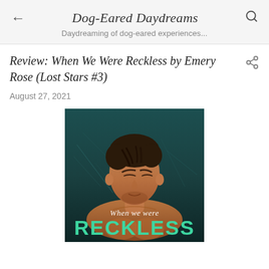Dog-Eared Daydreams
Daydreaming of dog-eared experiences...
Review: When We Were Reckless by Emery Rose (Lost Stars #3)
August 27, 2021
[Figure (photo): Book cover of 'When We Were Reckless' by Emery Rose (Lost Stars #3) — a shirtless young man with eyes closed, head tilted back, against a dark teal/green textured background. The title 'When we were' appears in white script font and 'RECKLESS' appears in large teal/green capital letters at the bottom.]